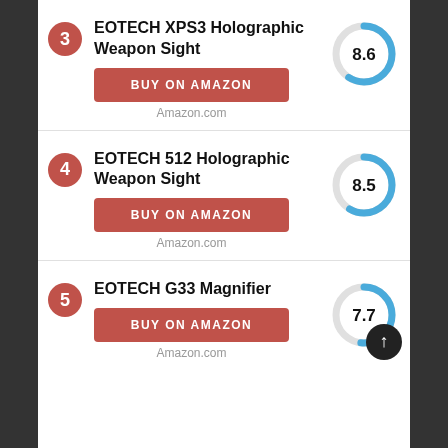3 EOTECH XPS3 Holographic Weapon Sight — Score: 8.6 — BUY ON AMAZON — Amazon.com
4 EOTECH 512 Holographic Weapon Sight — Score: 8.5 — BUY ON AMAZON — Amazon.com
5 EOTECH G33 Magnifier — Score: 7.7 — BUY ON AMAZON — Amazon.com